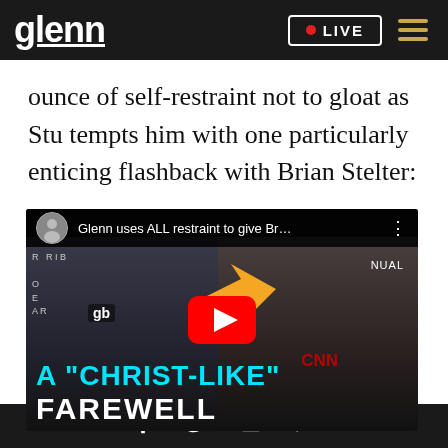glenn  • LIVE
ounce of self-restraint not to gloat as Stu tempts him with one particularly enticing flashback with Brian Stelter:
[Figure (screenshot): YouTube video thumbnail titled 'Glenn uses ALL restraint to give Br...' showing Glenn Beck laughing at a microphone on the left and Brian Stelter smiling on the right, with an orange arrow pointing right, a YouTube play button in the center, and text overlay reading 'A "CHRIST-LIKE" FAREWELL']
Social share icons: Facebook, Twitter, Email, SMS